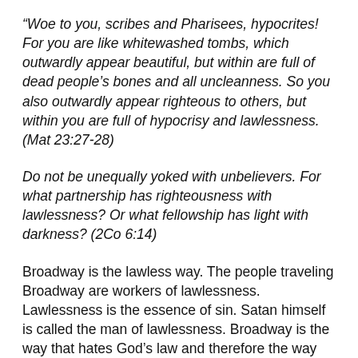“Woe to you, scribes and Pharisees, hypocrites! For you are like whitewashed tombs, which outwardly appear beautiful, but within are full of dead people’s bones and all uncleanness. So you also outwardly appear righteous to others, but within you are full of hypocrisy and lawlessness. (Mat 23:27-28)
Do not be unequally yoked with unbelievers. For what partnership has righteousness with lawlessness? Or what fellowship has light with darkness? (2Co 6:14)
Broadway is the lawless way. The people traveling Broadway are workers of lawlessness. Lawlessness is the essence of sin. Satan himself is called the man of lawlessness. Broadway is the way that hates God’s law and therefore the way that hates God. The people who travel it, though so often disguised as “godly, good folk,”